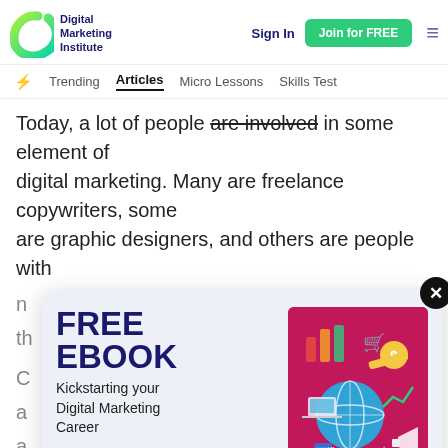Digital Marketing Institute — Sign In | Join for FREE
Trending | Articles | Micro Lessons | Skills Test
Today, a lot of people are involved in some element of digital marketing. Many are freelance copywriters, some are graphic designers, and others are people with
[Figure (infographic): FREE EBOOK modal popup with title 'Kickstarting your Digital Marketing Career', a Download for FREE green button, and a pink/magenta illustrated book cover with digital marketing icons (globe, shopping cart, dollar sign, megaphone, phone, pencil)]
Download for FREE